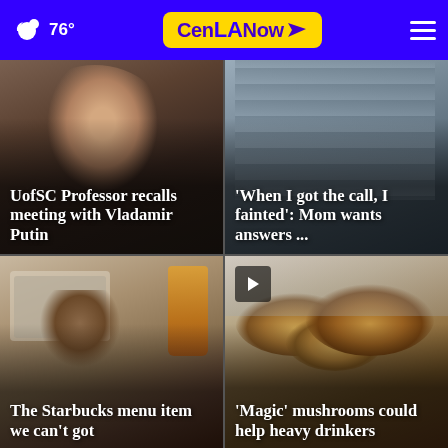76° CenLA Now
[Figure (photo): Close-up photo of a person's face, news article thumbnail]
UofSC Professor recalls meeting with Vladamir Putin
[Figure (photo): Photo of a person in striped clothing, news article thumbnail]
'When I got the call, I fainted': Mom wants answers ...
[Figure (photo): Photo of Starbucks scene with a cup, news article thumbnail]
The Starbucks menu item we can't got
[Figure (photo): Photo of mushrooms close-up, news article thumbnail with video play button]
'Magic' mushrooms could help heavy drinkers